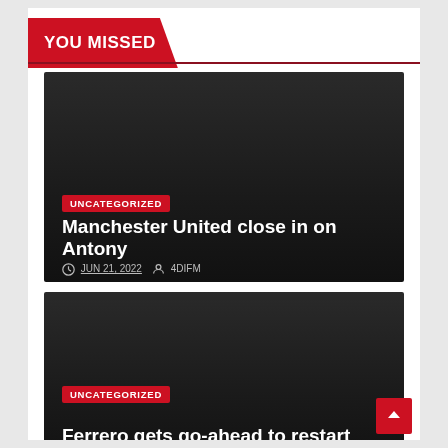YOU MISSED
Manchester United close in on Antony
UNCATEGORIZED
JUN 21, 2022  4DIFM
Ferrero gets go-ahead to restart Belgian plant
UNCATEGORIZED